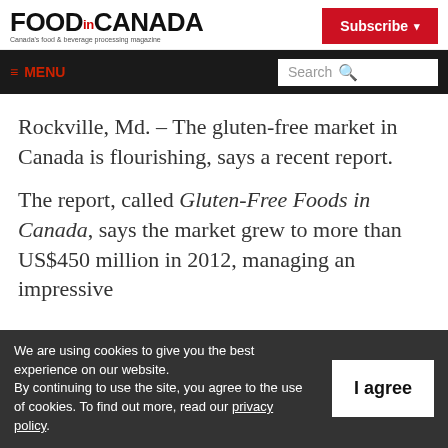FOOD.CANADA — Canada's food & beverage processing magazine
≡ MENU | Search
Rockville, Md. – The gluten-free market in Canada is flourishing, says a recent report.
The report, called Gluten-Free Foods in Canada, says the market grew to more than US$450 million in 2012, managing an impressive
We are using cookies to give you the best experience on our website. By continuing to use the site, you agree to the use of cookies. To find out more, read our privacy policy.